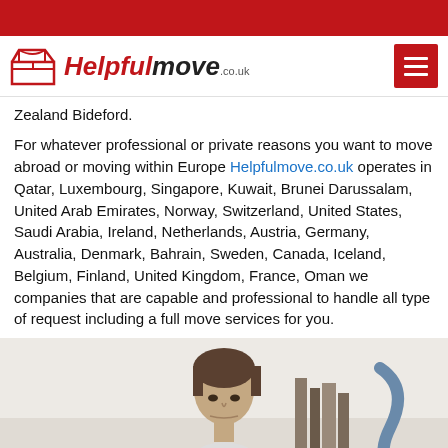[Figure (logo): Helpfulmove.co.uk logo with red box icon and text]
Zealand Bideford.
For whatever professional or private reasons you want to move abroad or moving within Europe Helpfulmove.co.uk operates in Qatar, Luxembourg, Singapore, Kuwait, Brunei Darussalam, United Arab Emirates, Norway, Switzerland, United States, Saudi Arabia, Ireland, Netherlands, Austria, Germany, Australia, Denmark, Bahrain, Sweden, Canada, Iceland, Belgium, Finland, United Kingdom, France, Oman we companies that are capable and professional to handle all type of request including a full move services for you.
[Figure (photo): Photo of a man looking down at a desk, with books and a decorative object in the background]